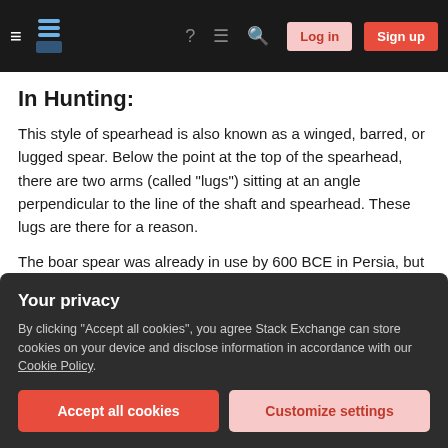Navigation bar with menu, logo, help, chat, search, Log in, Sign up
In Hunting:
This style of spearhead is also known as a winged, barred, or lugged spear. Below the point at the top of the spearhead, there are two arms (called "lugs") sitting at an angle perpendicular to the line of the shaft and spearhead. These lugs are there for a reason.
The boar spear was already in use by 600 BCE in Persia, but was probably around much earlier:
Your privacy
By clicking "Accept all cookies", you agree Stack Exchange can store cookies on your device and disclose information in accordance with our Cookie Policy.
Accept all cookies
Customize settings